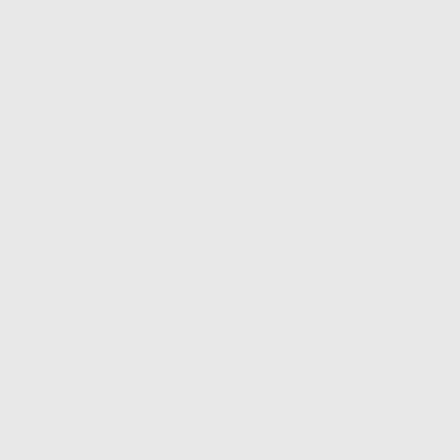Next Camus, reverend sire, went figures dim, and on the edge Like my dearest pledge? Last came, a
The pilot of the Galilean lake;
Two massy keys he bore of
(The golden opes, the iron s
He shook his mitred locks, a
109 Galilean] Who on the troubl
110 Two]
How well could I have spar'd fo
99 Panope] Alciphron Ep. lib.
103 reverend] 'One brought a
"
'In either hand she held a m
The one of beaten burnish'd
That in her left of swarthy i